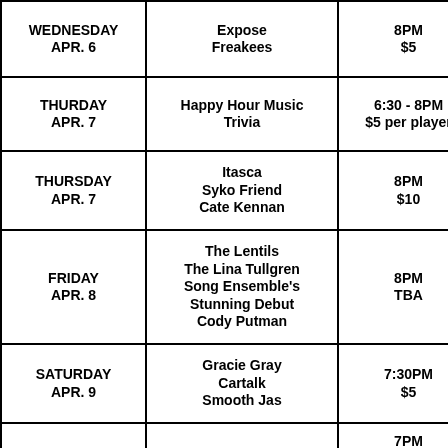| Day | Event | Time/Price |
| --- | --- | --- |
| WEDNESDAY
APR. 6 | Expose
Freakees | 8PM
$5 |
| THURDAY
APR. 7 | Happy Hour Music
Trivia | 6:30 - 8PM
$5 per player |
| THURSDAY
APR. 7 | Itasca
Syko Friend
Cate Kennan | 8PM
$10 |
| FRIDAY
APR. 8 | The Lentils
The Lina Tullgren
Song Ensemble's
Stunning Debut
Cody Putman | 8PM
TBA |
| SATURDAY
APR. 9 | Gracie Gray
Cartalk
Smooth Jas | 7:30PM
$5 |
| SUNDAY
APR. 10 | Mr. Horsepower
Comedy on the Patio! | 7PM
FREE OR
SUGGESTED
DONATION |
| SUNDAY | Art Feynman | 8PM
$10 OR |